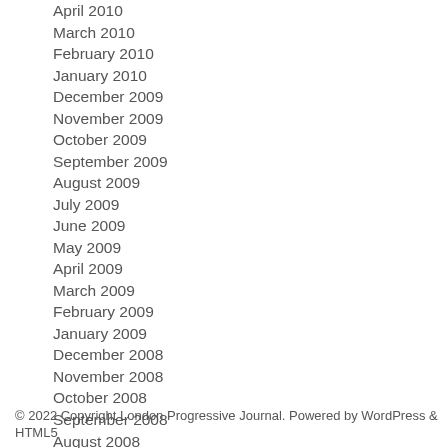April 2010
March 2010
February 2010
January 2010
December 2009
November 2009
October 2009
September 2009
August 2009
July 2009
June 2009
May 2009
April 2009
March 2009
February 2009
January 2009
December 2008
November 2008
October 2008
September 2008
August 2008
July 2008
June 2008
May 2008
April 2008
March 2008
February 2008
January 2008
© 2022 Copyright London Progressive Journal. Powered by WordPress & HTML5